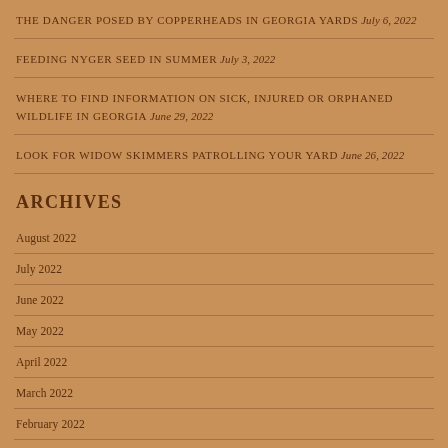THE DANGER POSED BY COPPERHEADS IN GEORGIA YARDS July 6, 2022
FEEDING NYGER SEED IN SUMMER July 3, 2022
WHERE TO FIND INFORMATION ON SICK, INJURED OR ORPHANED WILDLIFE IN GEORGIA June 29, 2022
LOOK FOR WIDOW SKIMMERS PATROLLING YOUR YARD June 26, 2022
ARCHIVES
August 2022
July 2022
June 2022
May 2022
April 2022
March 2022
February 2022
January 2022